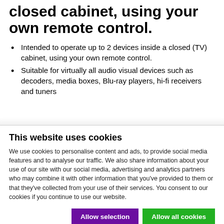closed cabinet, using your own remote control.
Intended to operate up to 2 devices inside a closed (TV) cabinet, using your own remote control.
Suitable for virtually all audio visual devices such as decoders, media boxes, Blu-ray players, hi-fi receivers and tuners
This website uses cookies
We use cookies to personalise content and ads, to provide social media features and to analyse our traffic. We also share information about your use of our site with our social media, advertising and analytics partners who may combine it with other information that you've provided to them or that they've collected from your use of their services. You consent to our cookies if you continue to use our website.
Allow selection | Allow all cookies | Necessary | Preferences | Statistics | Marketing | Show details